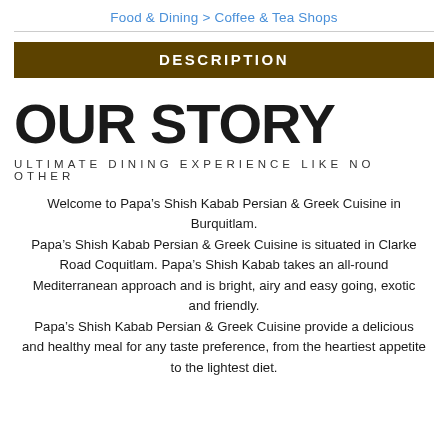Food & Dining > Coffee & Tea Shops
DESCRIPTION
OUR STORY
ULTIMATE DINING EXPERIENCE LIKE NO OTHER
Welcome to Papa’s Shish Kabab Persian & Greek Cuisine in Burquitlam.
Papa’s Shish Kabab Persian & Greek Cuisine is situated in Clarke Road Coquitlam. Papa’s Shish Kabab takes an all-round Mediterranean approach and is bright, airy and easy going, exotic and friendly.
Papa’s Shish Kabab Persian & Greek Cuisine provide a delicious and healthy meal for any taste preference, from the heartiest appetite to the lightest diet.